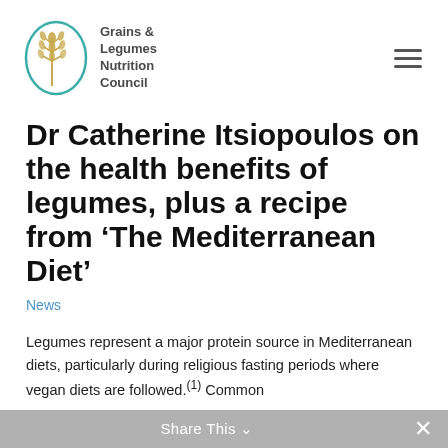Grains & Legumes Nutrition Council
Dr Catherine Itsiopoulos on the health benefits of legumes, plus a recipe from ‘The Mediterranean Diet’
News
Legumes represent a major protein source in Mediterranean diets, particularly during religious fasting periods where vegan diets are followed.(1) Common